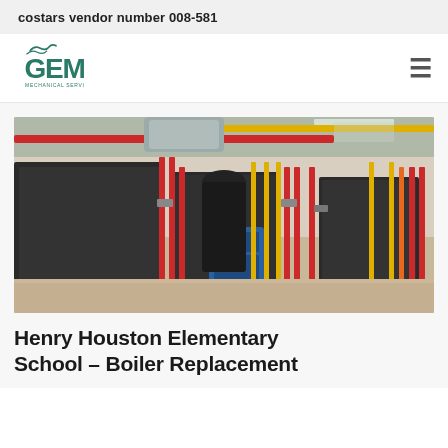costars vendor number 008-581
[Figure (logo): GEM Mechanical Services logo with stylized wave above lettering]
[Figure (photo): Industrial boiler room with large black boilers, red and yellow piping, blue pump motors, and ductwork in a concrete facility]
Henry Houston Elementary School – Boiler Replacement